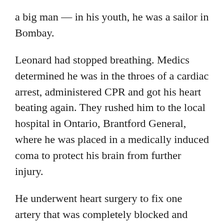a big man — in his youth, he was a sailor in Bombay.
Leonard had stopped breathing. Medics determined he was in the throes of a cardiac arrest, administered CPR and got his heart beating again. They rushed him to the local hospital in Ontario, Brantford General, where he was placed in a medically induced coma to protect his brain from further injury.
He underwent heart surgery to fix one artery that was completely blocked and another that was 80 percent obstructed. A day and a half later, he emerged from his coma and entered the gray zone. “The news is not good,” said the doctor. “Leonard’s brain is severely damaged. He’s in a vegetative state, and he’s probably not going to make it.”